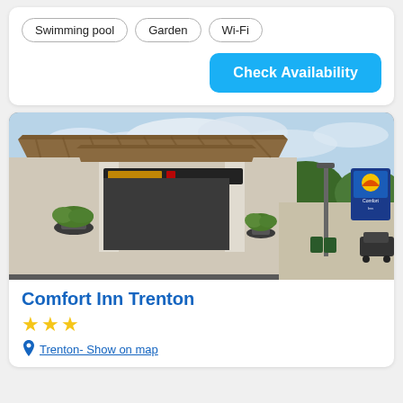Swimming pool
Garden
Wi-Fi
Check Availability
[Figure (photo): Exterior of Comfort Inn Trenton hotel showing covered entrance drive-through with columns, potted plants, parking area, and Comfort Inn signage sign on a pole. Daytime with partly cloudy sky and trees in background.]
Comfort Inn Trenton
★★★
Trenton- Show on map